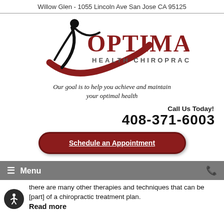Willow Glen - 1055 Lincoln Ave San Jose CA 95125
[Figure (logo): Optimal Health Chiropractic logo with stylized figure and swoosh design]
Our goal is to help you achieve and maintain your optimal health
Call Us Today!
408-371-6003
Schedule an Appointment
≡ Menu
there are many other therapies and techniques that can be [part] of a chiropractic treatment plan.
Read more